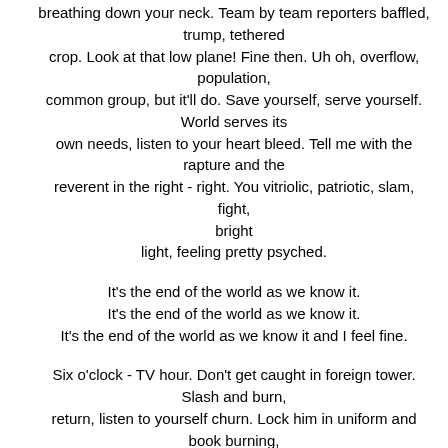breathing down your neck. Team by team reporters baffled, trump, tethered
crop. Look at that low plane! Fine then. Uh oh, overflow, population,
common group, but it'll do. Save yourself, serve yourself. World serves its
own needs, listen to your heart bleed. Tell me with the rapture and the
reverent in the right - right. You vitriolic, patriotic, slam, fight, bright
light, feeling pretty psyched.
It's the end of the world as we know it.
It's the end of the world as we know it.
It's the end of the world as we know it and I feel fine.
Six o'clock - TV hour. Don't get caught in foreign tower. Slash and burn,
return, listen to yourself churn. Lock him in uniform and book burning,
blood letting. Every motive escalate. Automotive incinerate. Light a candle,